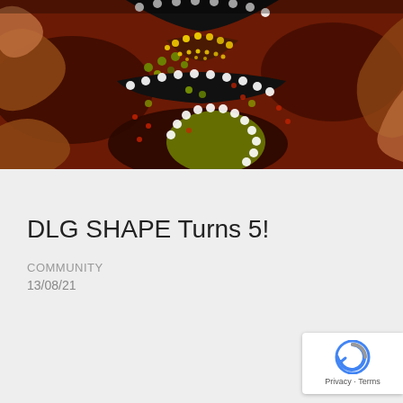[Figure (photo): Close-up of Aboriginal dot painting artwork featuring swirling patterns in red, brown, black and white with yellow and green dot clusters, circular forms outlined with white dots against a dark red/brown background.]
DLG SHAPE Turns 5!
COMMUNITY
13/08/21
[Figure (logo): reCAPTCHA badge with blue and grey arrow icon and Privacy · Terms text]